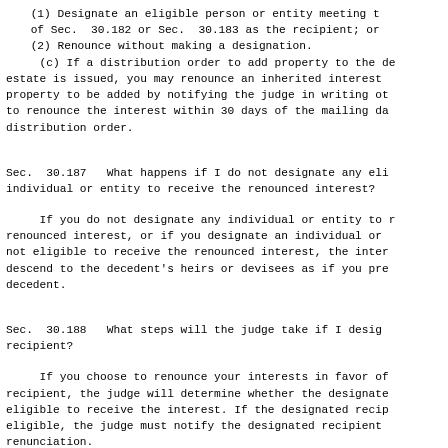(1) Designate an eligible person or entity meeting the requirements of Sec. 30.182 or Sec. 30.183 as the recipient; or
(2) Renounce without making a designation.
(c) If a distribution order to add property to the decedent's estate is issued, you may renounce an inherited interest in the property to be added by notifying the judge in writing of your intent to renounce the interest within 30 days of the mailing date of the distribution order.
Sec. 30.187   What happens if I do not designate any eligible individual or entity to receive the renounced interest?
If you do not designate any individual or entity to receive the renounced interest, or if you designate an individual or entity not eligible to receive the renounced interest, the interest will descend to the decedent's heirs or devisees as if you predeceased the decedent.
Sec. 30.188   What steps will the judge take if I designate a recipient?
If you choose to renounce your interests in favor of a designated recipient, the judge will determine whether the designated recipient is eligible to receive the interest. If the designated recipient is eligible, the judge must notify the designated recipient of the renunciation.
Sec. 30.189   What steps will the judge take if...